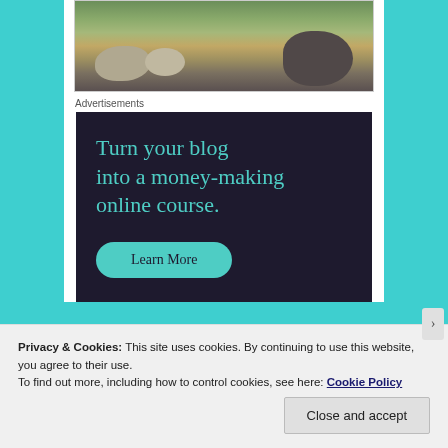[Figure (photo): Partial photo of a garden scene with rocks, gravel, and green plants/foliage]
Advertisements
[Figure (infographic): Dark navy advertisement banner reading 'Turn your blog into a money-making online course.' with a teal 'Learn More' button]
Privacy & Cookies: This site uses cookies. By continuing to use this website, you agree to their use.
To find out more, including how to control cookies, see here: Cookie Policy
Close and accept